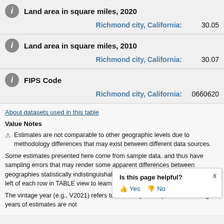Land area in square miles, 2020
| Geography | Value |
| --- | --- |
| Richmond city, California: | 30.05 |
Land area in square miles, 2010
| Geography | Value |
| --- | --- |
| Richmond city, California: | 30.07 |
FIPS Code
| Geography | Value |
| --- | --- |
| Richmond city, California: | 0660620 |
About datasets used in this table
Value Notes
Estimates are not comparable to other geographic levels due to methodology differences that may exist between different data sources.
Some estimates presented here come from sample data, and thus have sampling errors that may render some apparent differences between geographies statistically indistinguishable. Click the Quick Info icon to the left of each row in TABLE view to learn about samp
The vintage year (e.g., V2021) refers to the final ye 2021). Different vintage years of estimates are not